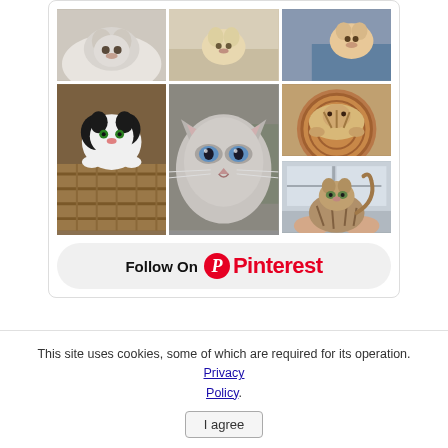[Figure (screenshot): Pinterest widget showing a grid of cat photos with a 'Follow On Pinterest' button. Top row: 3 cat photos (fluffy white cat, cat on blanket, cat with person). Second row: tuxedo kitten in basket (tall), grey/blue-eyed cat close-up (tall), cat in round basket (top), tabby cat being held (bottom). Below the grid is a 'Follow On Pinterest' button with the Pinterest logo.]
This site uses cookies, some of which are required for its operation. Privacy Policy. I agree